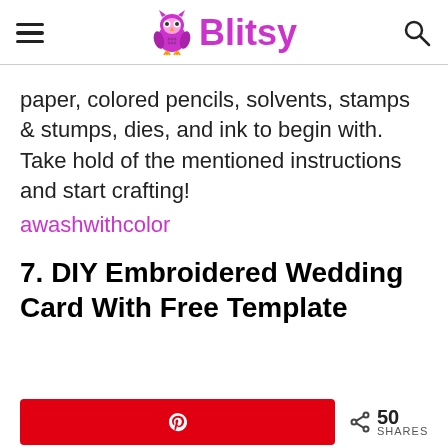Blitsy
paper, colored pencils, solvents, stamps & stumps, dies, and ink to begin with. Take hold of the mentioned instructions and start crafting!
awashwithcolor
7. DIY Embroidered Wedding Card With Free Template